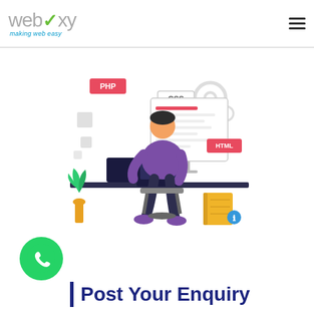[Figure (logo): Webixy logo with checkmark and tagline 'making web easy']
[Figure (illustration): Developer sitting at a desk with a laptop and monitor, with PHP, CSS, HTML tags floating around. Plant and yellow book beside the desk.]
[Figure (logo): WhatsApp green circular icon button]
Post Your Enquiry